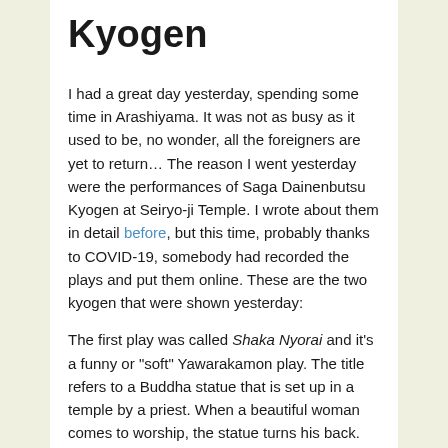Kyogen
I had a great day yesterday, spending some time in Arashiyama. It was not as busy as it used to be, no wonder, all the foreigners are yet to return… The reason I went yesterday were the performances of Saga Dainenbutsu Kyogen at Seiryo-ji Temple. I wrote about them in detail before, but this time, probably thanks to COVID-19, somebody had recorded the plays and put them online. These are the two kyogen that were shown yesterday:
The first play was called Shaka Nyorai and it's a funny or "soft" Yawarakamon play. The title refers to a Buddha statue that is set up in a temple by a priest. When a beautiful woman comes to worship, the statue turns his back. The priest and a samurai (or worker?) at the temple ask her to worship again so that the Buddha will turn his back and face the proper side once more. Instead, the Buddha lays his arm around the woman and leaves with